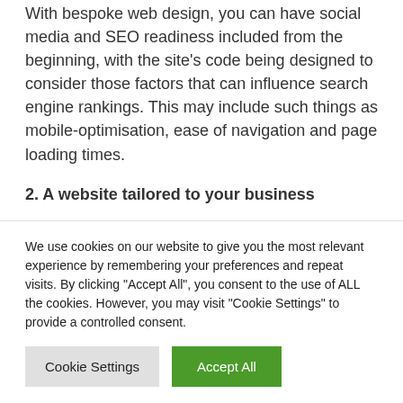With bespoke web design, you can have social media and SEO readiness included from the beginning, with the site's code being designed to consider those factors that can influence search engine rankings. This may include such things as mobile-optimisation, ease of navigation and page loading times.
2. A website tailored to your business
For ultimate success online, you will need a website that meets the unique requirements of
We use cookies on our website to give you the most relevant experience by remembering your preferences and repeat visits. By clicking "Accept All", you consent to the use of ALL the cookies. However, you may visit "Cookie Settings" to provide a controlled consent.